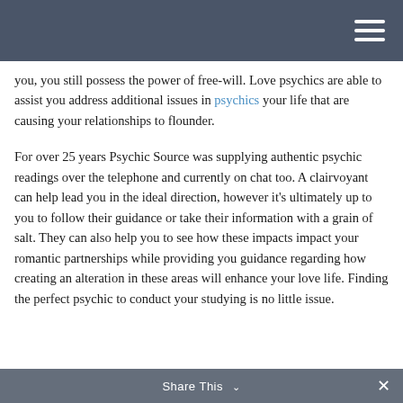…going … you, you still possess the power of free-will. Love psychics are able to assist you address additional issues in psychics your life that are causing your relationships to flounder.
For over 25 years Psychic Source was supplying authentic psychic readings over the telephone and currently on chat too. A clairvoyant can help lead you in the ideal direction, however it's ultimately up to you to follow their guidance or take their information with a grain of salt. They can also help you to see how these impacts impact your romantic partnerships while providing you guidance regarding how creating an alteration in these areas will enhance your love life. Finding the perfect psychic to conduct your studying is no little issue.
Share This